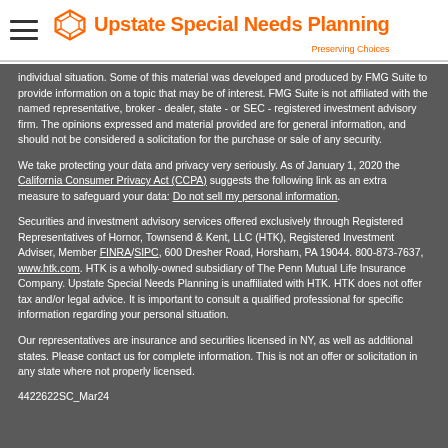Upstate Special Needs Planning — Preserving Choices
individual situation. Some of this material was developed and produced by FMG Suite to provide information on a topic that may be of interest. FMG Suite is not affiliated with the named representative, broker - dealer, state - or SEC - registered investment advisory firm. The opinions expressed and material provided are for general information, and should not be considered a solicitation for the purchase or sale of any security.
We take protecting your data and privacy very seriously. As of January 1, 2020 the California Consumer Privacy Act (CCPA) suggests the following link as an extra measure to safeguard your data: Do not sell my personal information.
Securities and investment advisory services offered exclusively through Registered Representatives of Hornor, Townsend & Kent, LLC (HTK), Registered Investment Adviser, Member FINRA/SIPC, 600 Dresher Road, Horsham, PA 19044. 800-873-7637, www.htk.com. HTK is a wholly-owned subsidiary of The Penn Mutual Life Insurance Company. Upstate Special Needs Planning is unaffiliated with HTK. HTK does not offer tax and/or legal advice. It is important to consult a qualified professional for specific information regarding your personal situation.
Our representatives are insurance and securities licensed in NY, as well as additional states.  Please contact us for complete information.  This is not an offer or solicitation in any state where not properly licensed.
4422622SC_Mar24